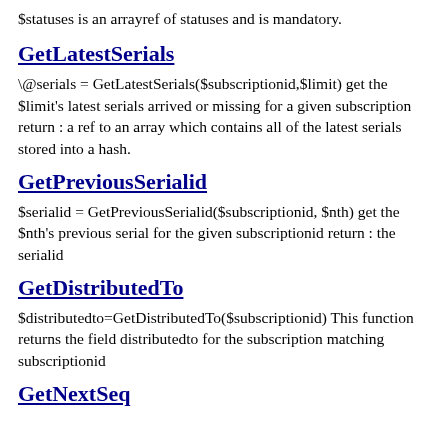$statuses is an arrayref of statuses and is mandatory.
GetLatestSerials
\@serials = GetLatestSerials($subscriptionid,$limit) get the $limit's latest serials arrived or missing for a given subscription return : a ref to an array which contains all of the latest serials stored into a hash.
GetPreviousSerialid
$serialid = GetPreviousSerialid($subscriptionid, $nth) get the $nth's previous serial for the given subscriptionid return : the serialid
GetDistributedTo
$distributedto=GetDistributedTo($subscriptionid) This function returns the field distributedto for the subscription matching subscriptionid
GetNextSeq